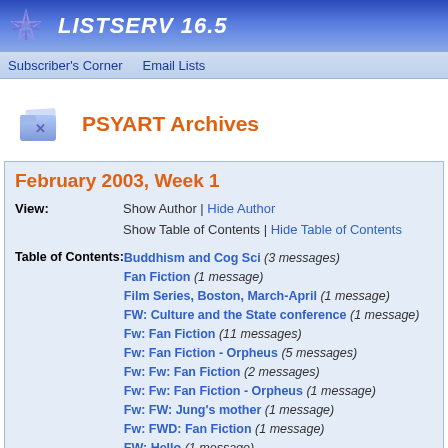LISTSERV 16.5
Subscriber's Corner | Email Lists
PSYART Archives
February 2003, Week 1
View: Show Author | Hide Author
Show Table of Contents | Hide Table of Contents
Buddhism and Cog Sci (3 messages)
Fan Fiction (1 message)
Film Series, Boston, March-April (1 message)
FW: Culture and the State conference (1 message)
Fw: Fan Fiction (11 messages)
Fw: Fan Fiction - Orpheus (5 messages)
Fw: Fw: Fan Fiction (2 messages)
Fw: Fw: Fan Fiction - Orpheus (1 message)
Fw: FW: Jung's mother (1 message)
Fw: FWD: Fan Fiction (1 message)
FW: Hello (1 message)
FWD: Fan Fiction (1 message)
New Book on Trauma in Literature (1 message)